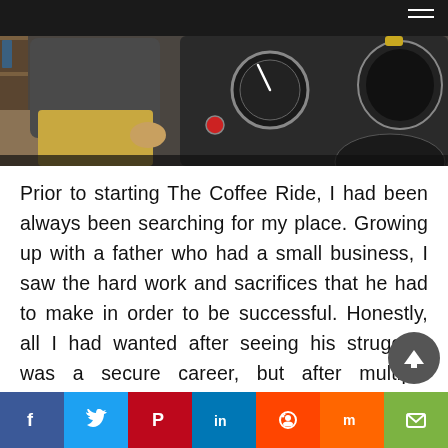[Figure (photo): A person wearing a dark t-shirt and yellow shorts stands in front of large industrial coffee roasting machinery. The setting appears to be a coffee roastery.]
Prior to starting The Coffee Ride, I had been always been searching for my place. Growing up with a father who had a small business, I saw the hard work and sacrifices that he had to make in order to be successful. Honestly, all I had wanted after seeing his struggles was a secure career, but after multiple positions in pretty much every industry possible; I ended up going for it myself. Starting The Coffee Ride was the first thing in my life that I truly loved. I st
f  t  P  in  reddit  m  email